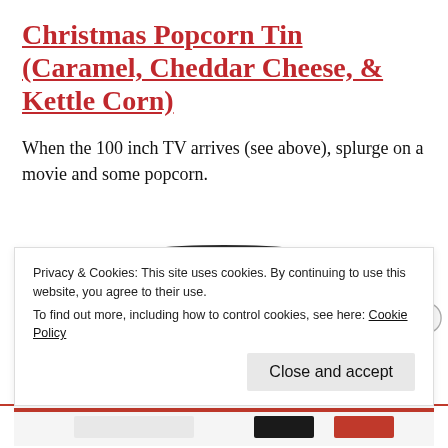Christmas Popcorn Tin (Caramel, Cheddar Cheese, & Kettle Corn)
When the 100 inch TV arrives (see above), splurge on a movie and some popcorn.
[Figure (photo): Top view of a dark/black round popcorn tin lid, partially visible at the bottom of the main content area.]
Privacy & Cookies: This site uses cookies. By continuing to use this website, you agree to their use.
To find out more, including how to control cookies, see here: Cookie Policy
Close and accept